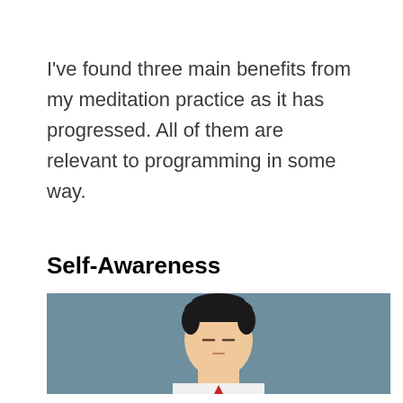I've found three main benefits from my meditation practice as it has progressed. All of them are relevant to programming in some way.
Self-Awareness
[Figure (illustration): Cartoon illustration of a meditating man with closed eyes, wearing a white shirt with a red tie, depicted from the chest up against a muted teal/steel blue background.]